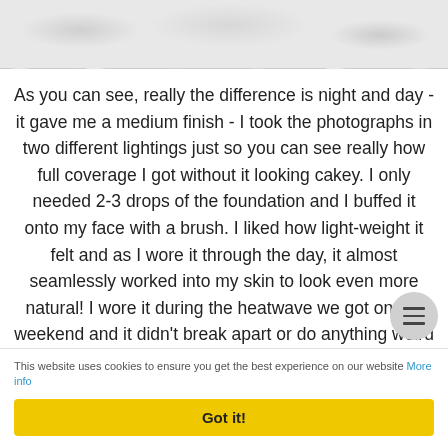[Figure (photo): Torn-edge photo of a textured light grey surface at the top of the page]
As you can see, really the difference is night and day - it gave me a medium finish - I took the photographs in two different lightings just so you can see really how full coverage I got without it looking cakey. I only needed 2-3 drops of the foundation and I buffed it onto my face with a brush. I liked how light-weight it felt and as I wore it through the day, it almost seamlessly worked into my skin to look even more natural! I wore it during the heatwave we got on the weekend and it didn't break apart or do anything weird on my skin.
This website uses cookies to ensure you get the best experience on our website More info
Got it!